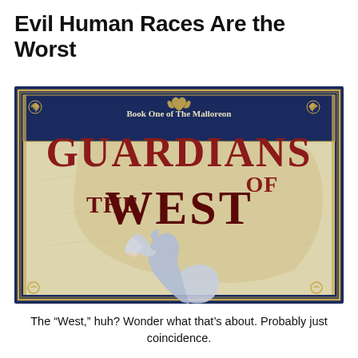Evil Human Races Are the Worst
[Figure (photo): Book cover of 'Guardians of the West, Book One of The Malloreon' showing the title in large serif letters over a parchment-colored map background with a blue-tinted wolf howling at the bottom, framed by a dark navy border with gold decorative corners.]
The “West,” huh? Wonder what that’s about. Probably just coincidence.